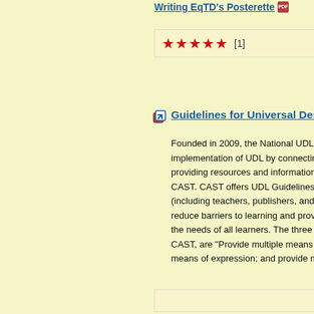Writing EqTD's Posterette
[Figure (other): Five red stars rating with [1] review count]
Guidelines for Universal Design for Le...
Founded in 2009, the National UDL Center su... implementation of UDL by connecting stakehe... providing resources and information. The UD... CAST. CAST offers UDL Guidelines to help c... (including teachers, publishers, and others) d... reduce barriers to learning and provide robus... the needs of all learners. The three principles... CAST, are "Provide multiple means of repres... means of expression; and provide multiple m...
National Cente...
[Figure (other): Empty rating bar]
Accessible Poster Presentations
This website contains information on how to... from the American Public Health Associatio... goals to make meetings accessible to the w... possible. This website gives bullet-points in... your poster more accessible.